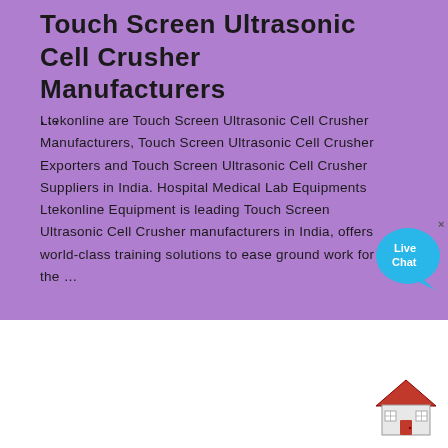Touch Screen Ultrasonic Cell Crusher Manufacturers
...
Ltekonline are Touch Screen Ultrasonic Cell Crusher Manufacturers, Touch Screen Ultrasonic Cell Crusher Exporters and Touch Screen Ultrasonic Cell Crusher Suppliers in India. Hospital Medical Lab Equipments Ltekonline Equipment is leading Touch Screen Ultrasonic Cell Crusher manufacturers in India, offers world-class training solutions to ease ground work for the ...
[Figure (illustration): Live Chat bubble with cyan color and speech bubble, with a close X button]
[Figure (illustration): House/home icon in red on white background, bottom right corner]